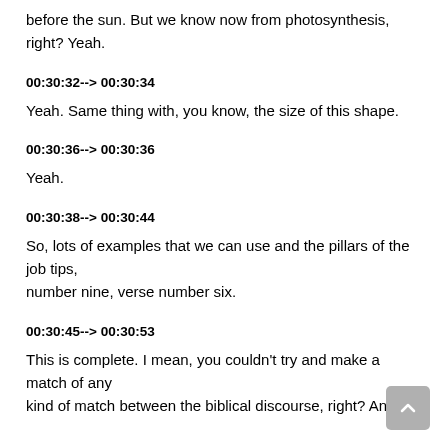before the sun. But we know now from photosynthesis, right? Yeah.
00:30:32--> 00:30:34
Yeah. Same thing with, you know, the size of this shape.
00:30:36--> 00:30:36
Yeah.
00:30:38--> 00:30:44
So, lots of examples that we can use and the pillars of the job tips, number nine, verse number six.
00:30:45--> 00:30:53
This is complete. I mean, you couldn't try and make a match of any kind of match between the biblical discourse, right? And the